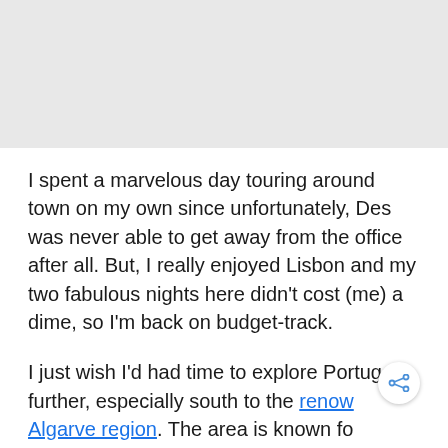[Figure (photo): Gray image placeholder area at top of page]
I spent a marvelous day touring around town on my own since unfortunately, Des was never able to get away from the office after all. But, I really enjoyed Lisbon and my two fabulous nights here didn't cost (me) a dime, so I'm back on budget-track.
I just wish I'd had time to explore Portugal further, especially south to the renowned Algarve region. The area is known for Europe's most spectacular coastline,